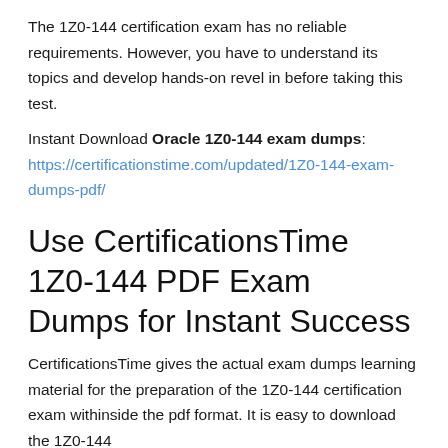The 1Z0-144 certification exam has no reliable requirements. However, you have to understand its topics and develop hands-on revel in before taking this test.
Instant Download Oracle 1Z0-144 exam dumps: https://certificationstime.com/updated/1Z0-144-exam-dumps-pdf/
Use CertificationsTime 1Z0-144 PDF Exam Dumps for Instant Success
CertificationsTime gives the actual exam dumps learning material for the preparation of the 1Z0-144 certification exam withinside the pdf format. It is easy to download the 1Z0-144